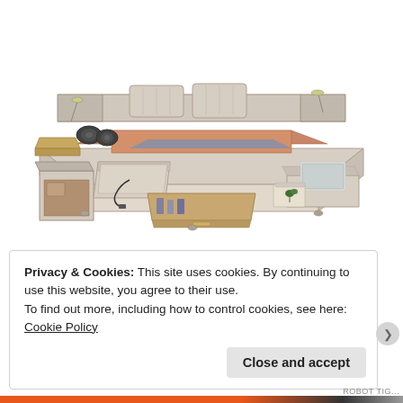[Figure (photo): A luxury multi-functional bed with cream/beige leather upholstery, featuring built-in storage drawers, a massage chair/chaise lounge, speakers, reading lamps, side tables, and a laptop stand, shown from an angled overhead perspective.]
Privacy & Cookies: This site uses cookies. By continuing to use this website, you agree to their use.
To find out more, including how to control cookies, see here: Cookie Policy
Close and accept